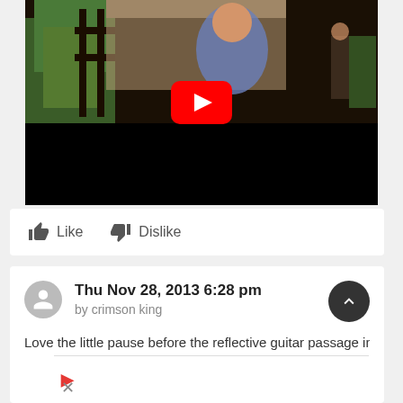[Figure (screenshot): YouTube video player showing a woman in a blue sari smiling outdoors with greenery and a gate in the background. The lower portion of the player is black. A red YouTube play button is overlaid in the center.]
Like   Dislike
Thu Nov 28, 2013 6:28 pm
by crimson king
Love the little pause before the reflective guitar passage in the